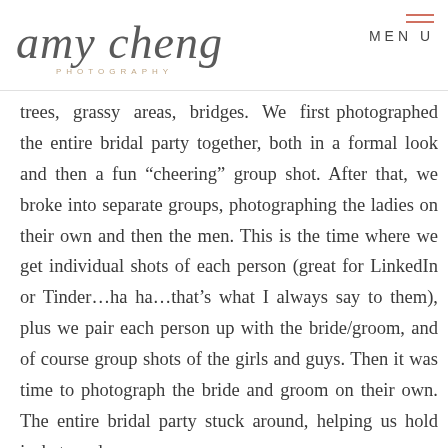amy cheng PHOTOGRAPHY — MENU
trees, grassy areas, bridges. We first photographed the entire bridal party together, both in a formal look and then a fun “cheering” group shot. After that, we broke into separate groups, photographing the ladies on their own and then the men. This is the time where we get individual shots of each person (great for LinkedIn or Tinder…ha ha…that’s what I always say to them), plus we pair each person up with the bride/groom, and of course group shots of the girls and guys. Then it was time to photograph the bride and groom on their own. The entire bridal party stuck around, helping us hold jackets and